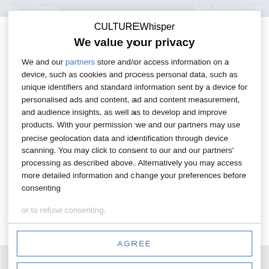Apple TV Preview   |   Again, National Theatre
[Figure (screenshot): CultureWhisper website background, partially visible behind privacy modal]
We value your privacy
We and our partners store and/or access information on a device, such as cookies and process personal data, such as unique identifiers and standard information sent by a device for personalised ads and content, ad and content measurement, and audience insights, as well as to develop and improve products. With your permission we and our partners may use precise geolocation data and identification through device scanning. You may click to consent to our and our partners' processing as described above. Alternatively you may access more detailed information and change your preferences before consenting or to refuse consenting.
AGREE
MORE OPTIONS